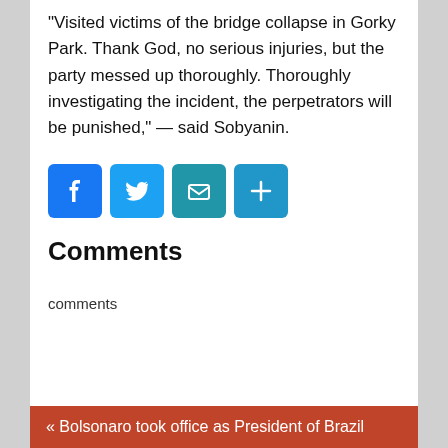“Visited victims of the bridge collapse in Gorky Park. Thank God, no serious injuries, but the party messed up thoroughly. Thoroughly investigating the incident, the perpetrators will be punished,” — said Sobyanin.
[Figure (infographic): Four social sharing icons: Facebook (blue), Twitter (blue), Email (teal-blue), Share/plus (blue)]
Comments
comments
« Bolsonaro took office as President of Brazil